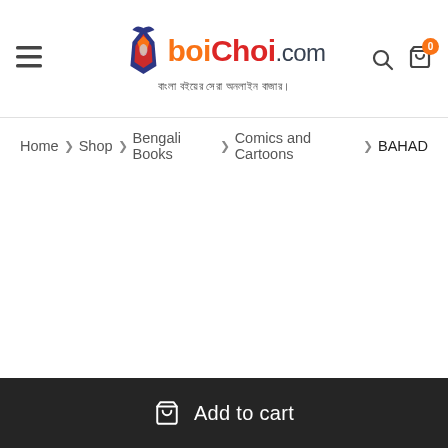boiChoi.com — বাংলা বইয়ের সেরা অনলাইন বাজার।
Home > Shop > Bengali Books > Comics and Cartoons > BAHAD
Add to cart